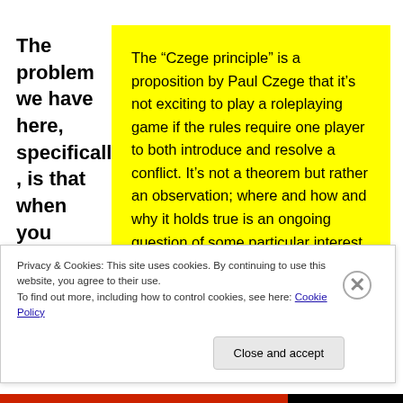The problem we have here, specifically , is that when you apply narration sharing to
The “Czege principle” is a proposition by Paul Czege that it’s not exciting to play a roleplaying game if the rules require one player to both introduce and resolve a conflict. It’s not a theorem but rather an observation; where and how and why it holds true is an ongoing question of some particular interest.
Privacy & Cookies: This site uses cookies. By continuing to use this website, you agree to their use.
To find out more, including how to control cookies, see here: Cookie Policy